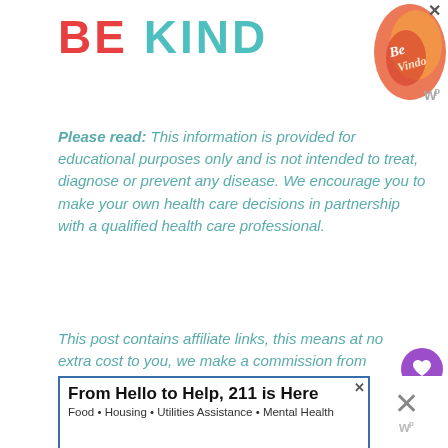[Figure (illustration): Top banner ad with 'BE KIND' text in large letters (BE in red, KIND in teal) and a decorative swirl/lettering graphic on the right in orange-red tones. An X close button is visible top right. A W logo appears below.]
Please read: This information is provided for educational purposes only and is not intended to treat, diagnose or prevent any disease. We encourage you to make your own health care decisions in partnership with a qualified health care professional.
This post contains affiliate links, this means at no extra cost to you, we make a commission from sales. Please read our Disclosure Statement
[Figure (screenshot): Bottom advertisement banner: 'From Hello to Help, 211 is Here' with subtitle 'Food • Housing • Utilities Assistance • Mental Health'. Has an X close button and W logo on the right side. Purple heart button and share button visible on right sidebar with 1.7K count.]